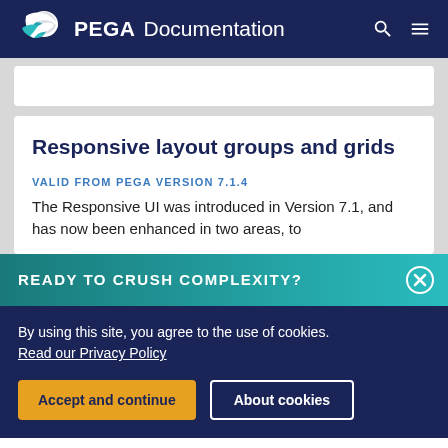PEGA Documentation
Responsive layout groups and grids
VALID FROM PEGA VERSION 7.1.4
The Responsive UI was introduced in Version 7.1, and has now been enhanced in two areas, to
READY TO CRUSH COMPLEXITY?
By using this site, you agree to the use of cookies. Read our Privacy Policy
Accept and continue
About cookies